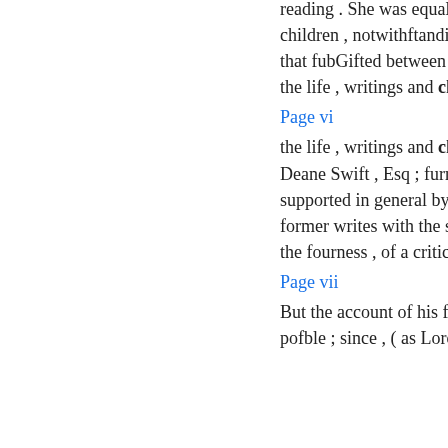reading . She was equally fond of both her children , notwithftanding some disagreements that fubGifted between them . ' : D. S. p . 22. 23 . the life , writings and character of Dr Swift ...
Page vi
the life , writings and character of Dr Swift , by Deane Swift , Esq ; furnish a variety of facts supported in general by good authority . The former writes with the severity , and sometimes the fourness , of a critic ; the latter with ...
Page vii
But the account of his family shall be as short as pofble ; since , ( as Lord Qrrery observes ) ,